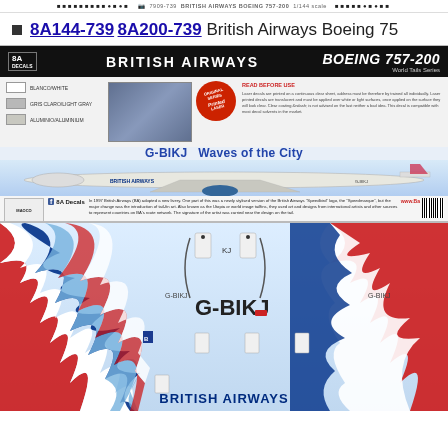7909-739 BRITISH AIRWAYS BOEING 757-200 1/144 scale
8A144-739 8A200-739 British Airways Boeing 757
[Figure (illustration): 8A Decals product sheet for British Airways Boeing 757-200, World Tails Series, showing G-BIKJ Waves of the City livery with color swatches (Blanco/White, Gris Claro/Light Gray, Aluminio/Aluminium), aircraft side-view illustration, red Original Series Laser badge, READ BEFORE USE instructions, barcode, and 8A Decals Facebook logo]
[Figure (illustration): Lower portion of decal sheet showing British Airways tail fin wave art in red, white, dark blue and light blue, with G-BIKJ registration labels, small component decals, and BRITISH AIRWAYS text at bottom]